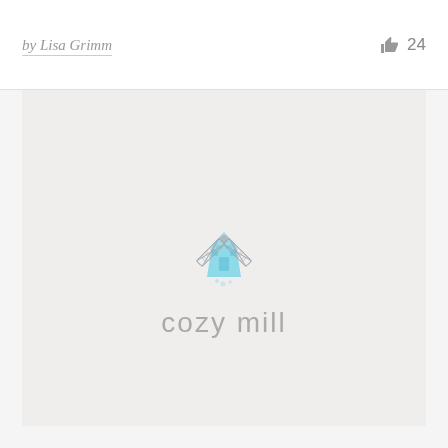by Lisa Grimm
24
[Figure (logo): Cozy Mill logo: a light blue windmill illustration with grey crosshatch blades, above the text 'cozy mill' in light grey thin sans-serif letters, on a textured white/off-white background card.]